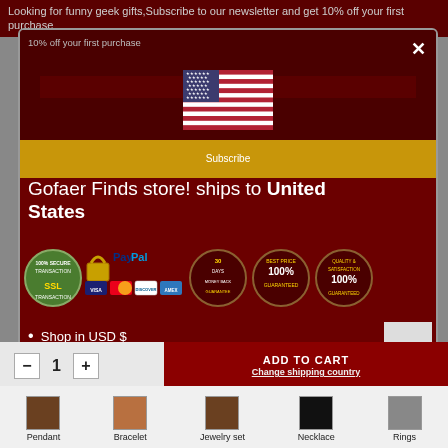Looking for funny geek gifts,Subscribe to our newsletter and get 10% off your first purchase
Your email address
Subscribe
Gofaer Finds store! ships to United States
[Figure (illustration): US flag icon]
[Figure (illustration): SSL Secure Transaction badge, PayPal payment icons (Visa, Mastercard, Discover, Amex), 30-Day Money Back badge, 100% Best Price Guaranteed badge, 100% Satisfaction Guaranteed badge]
Shop in USD $
Get shipping options for United States
Shop now
ADD TO CART
Change shipping country
Pendant
Bracelet
Jewelry set
Necklace
Rings